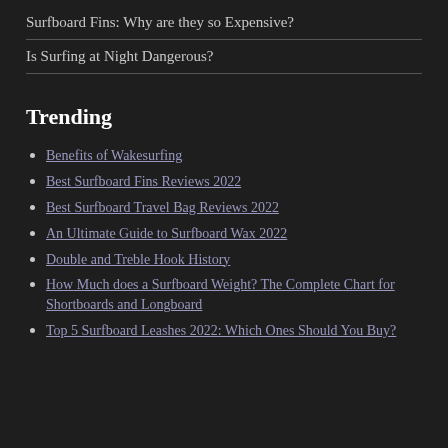Surfboard Fins: Why are they so Expensive?
Is Surfing at Night Dangerous?
Trending
Benefits of Wakesurfing
Best Surfboard Fins Reviews 2022
Best Surfboard Travel Bag Reviews 2022
An Ultimate Guide to Surfboard Wax 2022
Double and Treble Hook History
How Much does a Surfboard Weight? The Complete Chart for Shortboards and Longboard
Top 5 Surfboard Leashes 2022: Which Ones Should You Buy?